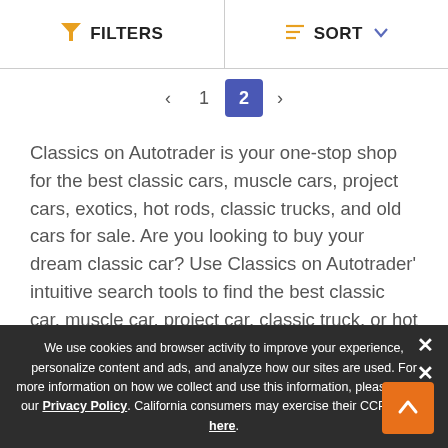FILTERS | SORT
« 1 2 »
Classics on Autotrader is your one-stop shop for the best classic cars, muscle cars, project cars, exotics, hot rods, classic trucks, and old cars for sale. Are you looking to buy your dream classic car? Use Classics on Autotrader' intuitive search tools to find the best classic car, muscle car, project car, classic truck, or hot rod.
Top Dodge Classic Cars by Model
We use cookies and browser activity to improve your experience, personalize content and ads, and analyze how our sites are used. For more information on how we collect and use this information, please review our Privacy Policy. California consumers may exercise their CCPA rights here.